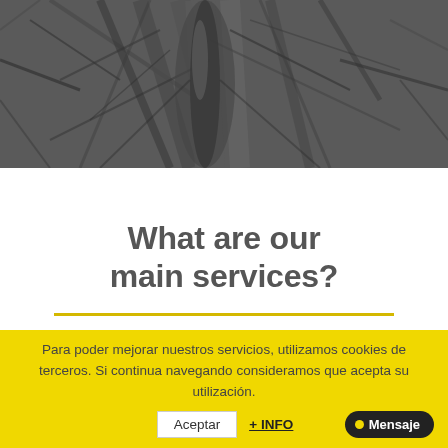[Figure (photo): Black and white photo of tangled roots and tree trunk viewed from below, grayscale nature texture]
What are our main services?
[Figure (photo): Black and white photo strip showing a sign with numbers, blurred background]
Para poder mejorar nuestros servicios, utilizamos cookies de terceros. Si continua navegando consideramos que acepta su utilización.
Aceptar
+ INFO
Mensaje